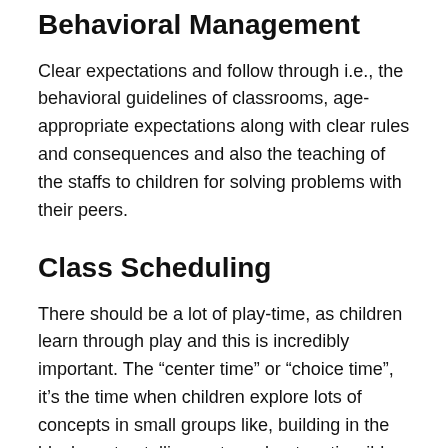Behavioral Management
Clear expectations and follow through i.e., the behavioral guidelines of classrooms, age-appropriate expectations along with clear rules and consequences and also the teaching of the staffs to children for solving problems with their peers.
Class Scheduling
There should be a lot of play-time, as children learn through play and this is incredibly important. The “center time” or “choice time”, it’s the time when children explore lots of concepts in small groups like, building in the block center, telling a story about arctic wild animals, etc. As well as The children should also have a “circle time” or “calendar time” i.e., having some time together as a class, where children have one-on-one time with the teacher, etc. Apart from all